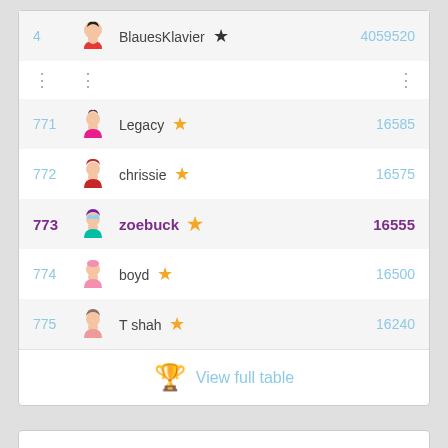| Rank | Avatar | Username | Score |
| --- | --- | --- | --- |
| 4 |  | BlauesKlavier ★ | 4059520 |
| ⋮ |  | ⋮ | ⋮ |
| 771 |  | Legacy ★ | 16585 |
| 772 |  | chrissie ★ | 16575 |
| 773 |  | zoebuck ★ | 16555 |
| 774 |  | boyd ★ | 16500 |
| 775 |  | T shah ★ | 16240 |
View full table
[Figure (logo): Battleships game icon — a purple grid with pink/orange markers and an orange star]
BATTLESHIPS